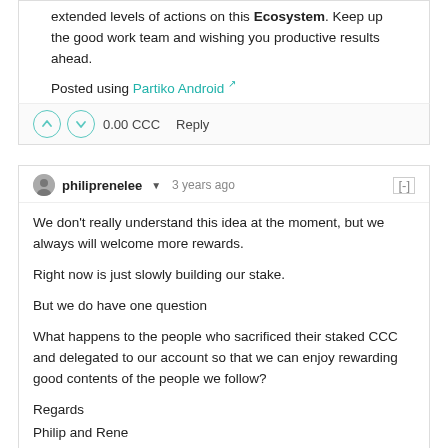extended levels of actions on this Ecosystem. Keep up the good work team and wishing you productive results ahead.

Posted using Partiko Android
0.00 CCC   Reply
philiprenelee  3 years ago
We don't really understand this idea at the moment, but we always will welcome more rewards.

Right now is just slowly building our stake.

But we do have one question

What happens to the people who sacrificed their staked CCC and delegated to our account so that we can enjoy rewarding good contents of the people we follow?

Regards
Philip and Rene
0.00 CCC   Reply